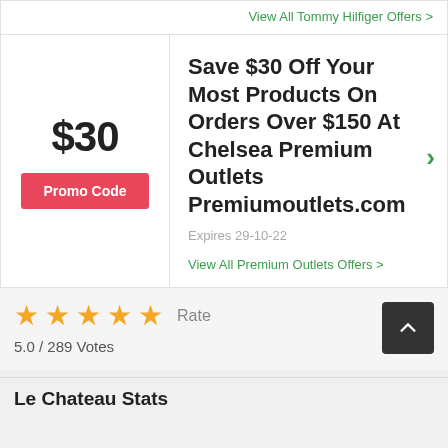View All Tommy Hilfiger Offers >
$30
Promo Code
Save $30 Off Your Most Products On Orders Over $150 At Chelsea Premium Outlets Premiumoutlets.com
Expires 29-10-22
View All Premium Outlets Offers >
★★★★★ Rate
5.0 / 289 Votes
Le Chateau Stats